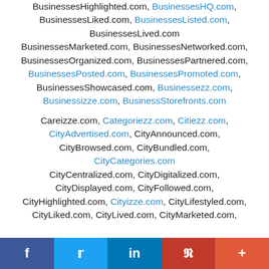BusinessesHighlighted.com, BusinessesHQ.com, BusinessesLiked.com, BusinessesListed.com, BusinessesLived.com BusinessesMarketed.com, BusinessesNetworked.com, BusinessesOrganized.com, BusinessesPartnered.com, BusinessesPosted.com, BusinessesPromoted.com, BusinessesShowcased.com, Businessezz.com, Businessizze.com, BusinessStorefronts.com
Careizze.com, Categoriezz.com, Citiezz.com, CityAdvertised.com, CityAnnounced.com, CityBrowsed.com, CityBundled.com, CityCategories.com CityCentralized.com, CityDigitalized.com, CityDisplayed.com, CityFollowed.com, CityHighlighted.com, Cityizze.com, CityLifestyled.com, CityLiked.com, CityLived.com, CityMarketed.com,
f  t  in  P  +